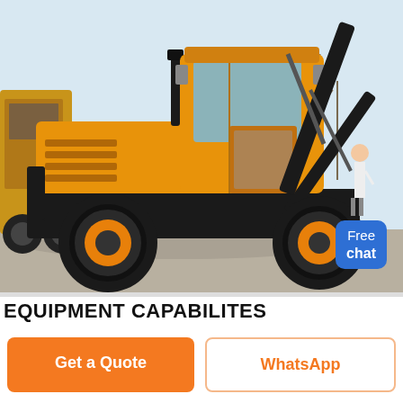[Figure (photo): Yellow heavy construction machine (wheel loader/backhoe) with black hydraulic arm, large tires with orange rims, glass cab, parked outdoors in a yard with other machinery and bare trees in the background. A person in white stands to the right. A blue 'Free chat' badge overlay appears in the upper right area of the image.]
EQUIPMENT CAPABILITES
Get a Quote
WhatsApp